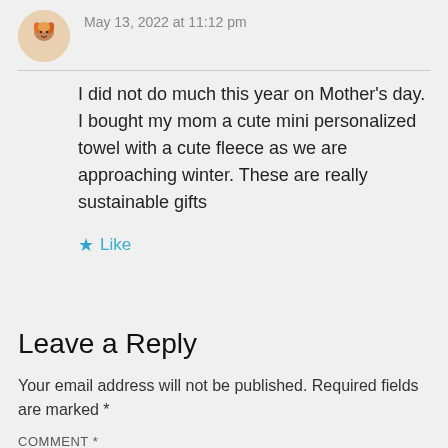May 13, 2022 at 11:12 pm
I did not do much this year on Mother's day. I bought my mom a cute mini personalized towel with a cute fleece as we are approaching winter. These are really sustainable gifts
★ Like
Leave a Reply
Your email address will not be published. Required fields are marked *
COMMENT *